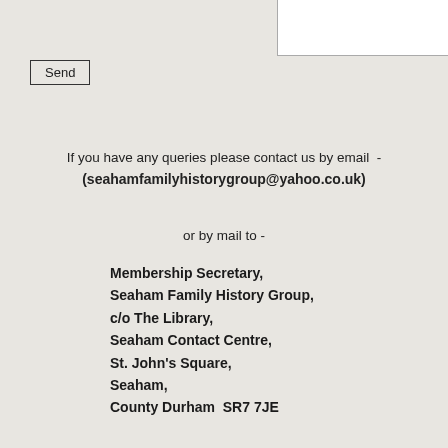[Figure (other): White rectangular box in the top right corner of the page]
Send
If you have any queries please contact us by email  -
(seahamfamilyhistorygroup@yahoo.co.uk)

or by mail to -
Membership Secretary,
Seaham Family History Group,
c/o The Library,
Seaham Contact Centre,
St. John's Square,
Seaham,
County Durham  SR7 7JE